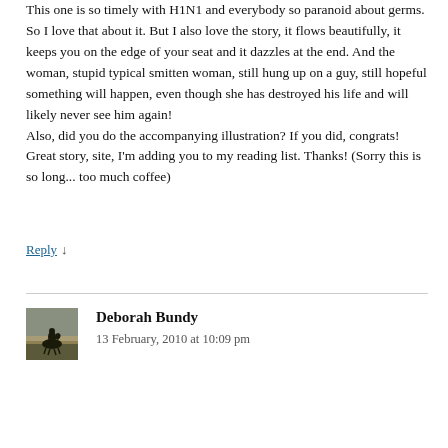This one is so timely with H1N1 and everybody so paranoid about germs. So I love that about it. But I also love the story, it flows beautifully, it keeps you on the edge of your seat and it dazzles at the end. And the woman, stupid typical smitten woman, still hung up on a guy, still hopeful something will happen, even though she has destroyed his life and will likely never see him again!
Also, did you do the accompanying illustration? If you did, congrats!
Great story, site, I'm adding you to my reading list. Thanks! (Sorry this is so long... too much coffee)
Reply ↓
Deborah Bundy
13 February, 2010 at 10:09 pm